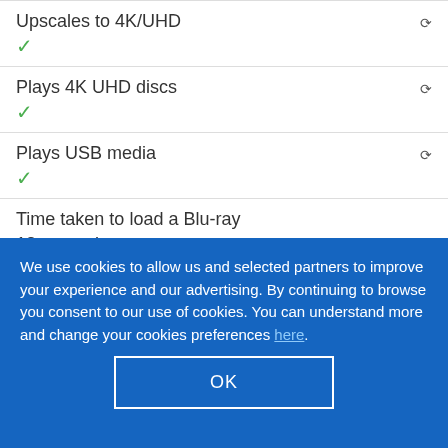Upscales to 4K/UHD ✓
Plays 4K UHD discs ✓
Plays USB media ✓
Time taken to load a Blu-ray
18 seconds
We use cookies to allow us and selected partners to improve your experience and our advertising. By continuing to browse you consent to our use of cookies. You can understand more and change your cookies preferences here.
OK